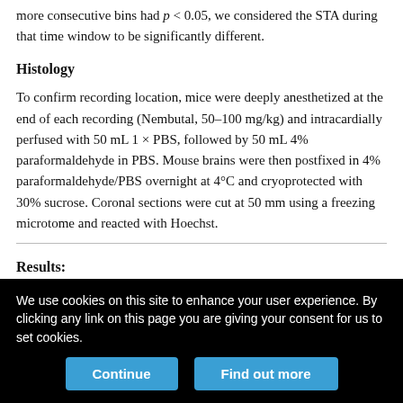more consecutive bins had p < 0.05, we considered the STA during that time window to be significantly different.
Histology
To confirm recording location, mice were deeply anesthetized at the end of each recording (Nembutal, 50–100 mg/kg) and intracardially perfused with 50 mL 1 × PBS, followed by 50 mL 4% paraformaldehyde in PBS. Mouse brains were then postfixed in 4% paraformaldehyde/PBS overnight at 4°C and cryoprotected with 30% sucrose. Coronal sections were cut at 50 mm using a freezing microtome and reacted with Hoechst.
Results:
We use cookies on this site to enhance your user experience. By clicking any link on this page you are giving your consent for us to set cookies.